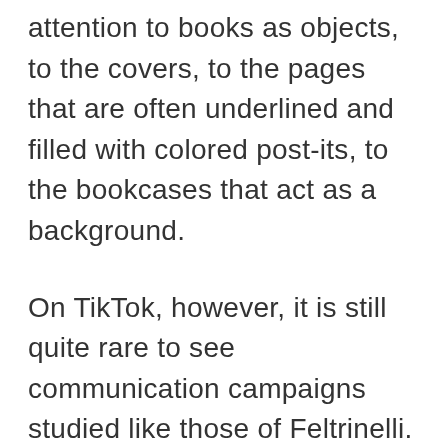attention to books as objects, to the covers, to the pages that are often underlined and filled with colored post-its, to the bookcases that act as a background.
On TikTok, however, it is still quite rare to see communication campaigns studied like those of Feltrinelli. One of the most recent book and gadget combinations dates back to a book released in February for Garzanti, The fire-breathing girl by Giulia Binaldo Melis. Along with the book, the publishing house also sent some young booktokers a glass lantern with small rechargeable solar-powered lights inside. Looking at it, it looks like an